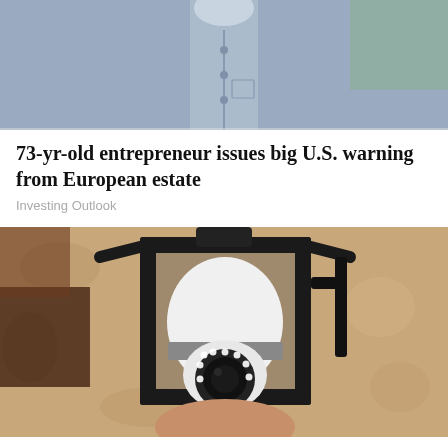[Figure (photo): Partial view of a man in a light blue button-up shirt, cropped at chest level]
73-yr-old entrepreneur issues big U.S. warning from European estate
Investing Outlook
[Figure (photo): A security camera shaped like a light bulb installed in a black outdoor wall lantern fixture, mounted on a stucco wall]
Homeowners Are Trading In Their Doorbell Cams For This